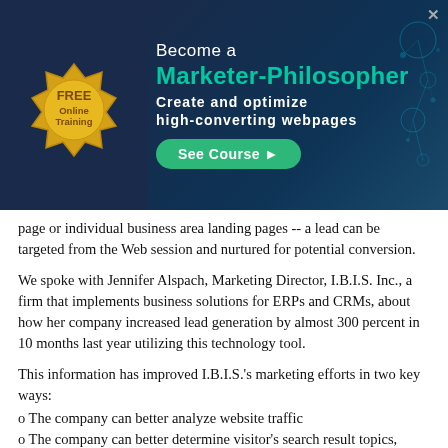[Figure (infographic): Banner advertisement for a free online training course: 'Become a Marketer-Philosopher – Create and optimize high-converting webpages' with a 'See Course' button, a gold seal icon on the left, and teal/dark navy background with neural network graphic.]
page or individual business area landing pages -- a lead can be targeted from the Web session and nurtured for potential conversion.
We spoke with Jennifer Alspach, Marketing Director, I.B.I.S. Inc., a firm that implements business solutions for ERPs and CRMs, about how her company increased lead generation by almost 300 percent in 10 months last year utilizing this technology tool.
This information has improved I.B.I.S.'s marketing efforts in two key ways:
o The company can better analyze website traffic
o The company can better determine visitor's search result topics, desired landing pages, and products/solutions of interest
CAMPAIGN